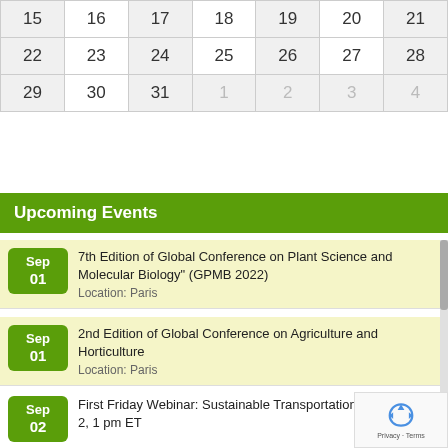|  |  |  |  |  |  |  |
| --- | --- | --- | --- | --- | --- | --- |
| 15 | 16 | 17 | 18 | 19 | 20 | 21 |
| 22 | 23 | 24 | 25 | 26 | 27 | 28 |
| 29 | 30 | 31 | 1 | 2 | 3 | 4 |
Upcoming Events
Sep 01 — 7th Edition of Global Conference on Plant Science and Molecular Biology" (GPMB 2022) — Location: Paris
Sep 01 — 2nd Edition of Global Conference on Agriculture and Horticulture — Location: Paris
Sep 02 — First Friday Webinar: Sustainable Transportation, September 2, 1 pm ET
Sep 05 — 2nd Edition of European Lasers, Photonics and Optics Tech Summit — Location: fRANCE